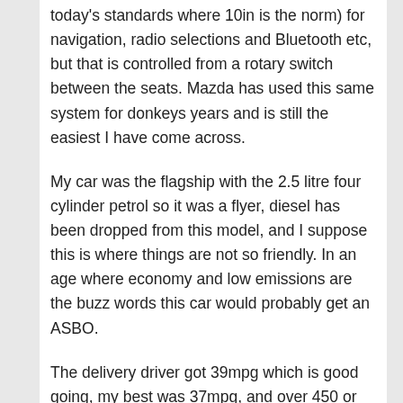today's standards where 10in is the norm) for navigation, radio selections and Bluetooth etc, but that is controlled from a rotary switch between the seats. Mazda has used this same system for donkeys years and is still the easiest I have come across.
My car was the flagship with the 2.5 litre four cylinder petrol so it was a flyer, diesel has been dropped from this model, and I suppose this is where things are not so friendly. In an age where economy and low emissions are the buzz words this car would probably get an ASBO.
The delivery driver got 39mpg which is good going, my best was 37mpg, and over 450 or so miles the average was 35 which isn't great compared to the 58mpg from the hybrid BMW 3 Series featured a few weeks ago. Emissions are erm… 172g/km, probably